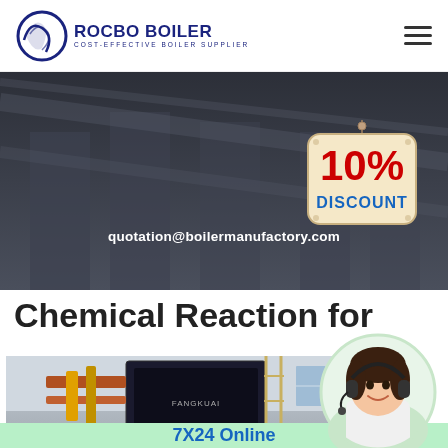ROCBO BOILER — COST-EFFECTIVE BOILER SUPPLIER
[Figure (screenshot): Dark industrial background hero image with text: quotation@boilermanufactory.com]
quotation@boilermanufactory.com
[Figure (infographic): 10% DISCOUNT badge — circular hanging sign in red and blue]
Chemical Reaction for
[Figure (photo): Industrial boiler equipment photo — FANGKUAI branded boiler unit in a factory setting]
[Figure (photo): Customer service representative with headset — circular cropped photo]
7X24 Online